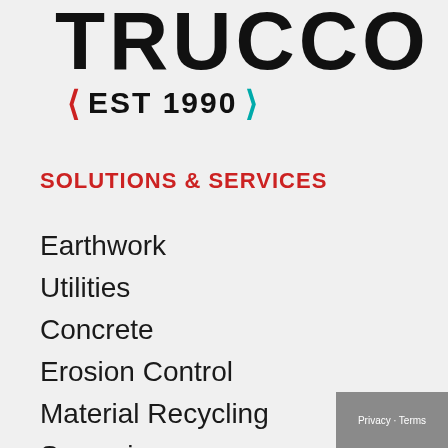[Figure (logo): TRUCCO company logo with large bold black text and EST 1990 tagline with red left chevron and teal right chevron]
SOLUTIONS & SERVICES
Earthwork
Utilities
Concrete
Erosion Control
Material Recycling
Surveying
General Contracting